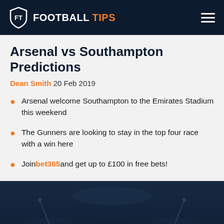FOOTBALL TIPS
Arsenal vs Southampton Predictions
Dean Smith 20 Feb 2019
Arsenal welcome Southampton to the Emirates Stadium this weekend
The Gunners are looking to stay in the top four race with a win here
Join bet365 and get up to £100 in free bets!
[Figure (photo): Aerial view of a football stadium at night with dark blue atmosphere]